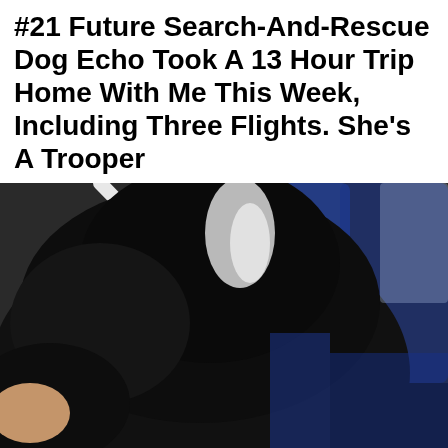#21 Future Search-And-Rescue Dog Echo Took A 13 Hour Trip Home With Me This Week, Including Three Flights. She's A Trooper
[Figure (photo): Close-up photo of a black dog with white markings on its head, sitting in what appears to be an airplane cabin seat. White seatbelt straps are visible in the background along with blue airplane seats.]
[Figure (screenshot): Online advertisement for Women's Fashion at VENUS (venus.com). Shows thumbnail image of a woman in fashion clothing, ad title 'Women's Fashion | Shop Online | VENUS', description 'Shop the best in women's fashion, clothing, swimwear', URL venus.com, with a blue circular arrow/chevron button on the right. Close button (x) in upper right corner.]